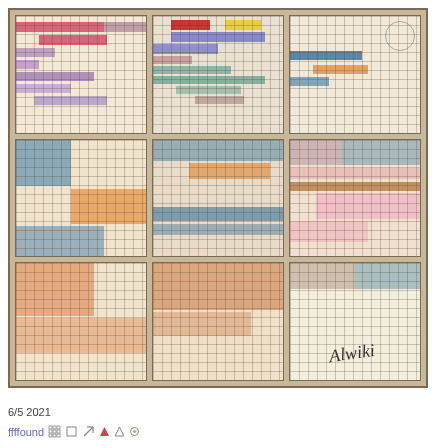[Figure (other): A 3×3 grid of nine framed panels, each containing colorful rectangular blocks painted or drawn on graph-paper grid backgrounds. Colors include red, pink, purple, blue, teal, orange, yellow, and cream. Some panels have handwritten annotations. The bottom-right panel contains a cursive signature.]
6/5 2021
ffffound ⊞ □ ✏ ♦ ▲ ◉